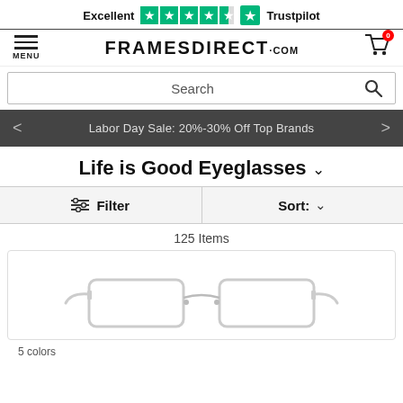[Figure (screenshot): Trustpilot Excellent rating bar with 4.5 green stars and Trustpilot logo]
FRAMESDIRECT.COM — navigation bar with MENU hamburger, site logo, and cart icon with 0 badge
Search
Labor Day Sale: 20%-30% Off Top Brands
Life is Good Eyeglasses
Filter   Sort:
125 Items
[Figure (photo): Clear/transparent rectangular eyeglasses frames product image]
5 colors